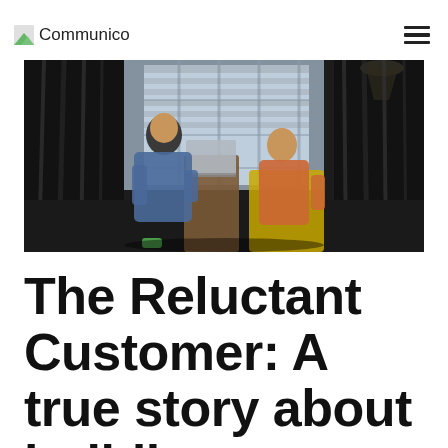Communico
[Figure (photo): Two people sitting across from each other at a small table in a modern interior space with large windows and booth-style seating. One person has a laptop open. Lighting is moody with dramatic shadows from window blinds. A pendant lamp is visible upper right.]
The Reluctant Customer: A true story about building